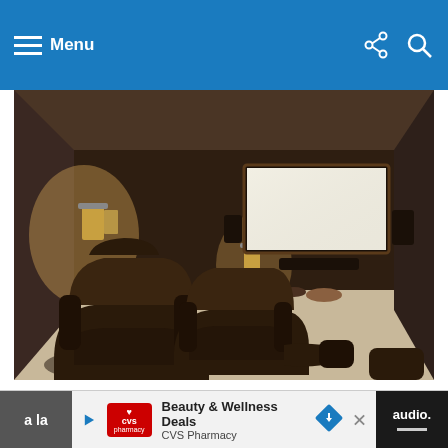Menu
[Figure (photo): Interior of a home movie room with dark brown walls, large projection screen on the wall, wall sconces providing warm lighting, and dark leather recliner seating in the foreground on light carpet.]
This home’s movie room provides plenty of comfortable leather seating for the entire family with
a la  audio.
[Figure (infographic): CVS Pharmacy advertisement banner: Beauty & Wellness Deals, CVS Pharmacy]